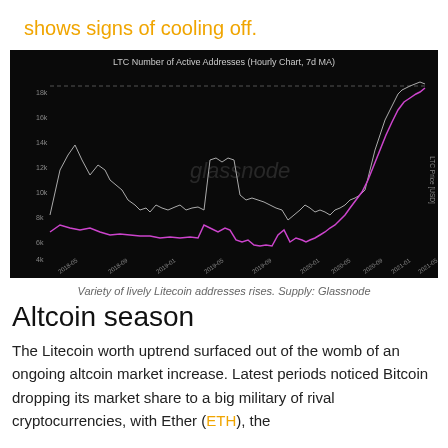shows signs of cooling off.
[Figure (line-chart): Dark background line chart showing LTC number of active addresses (gray line) and LTC price in USD (magenta/pink line) from 2018 to 2021. Both metrics show a sharp rise toward 2021. Watermark: glassnode. Y-axis left: 4k to 18k. Y-axis right: LTC Price [USD]. X-axis: dates from 2018-05 to 2021-05.]
Variety of lively Litecoin addresses rises. Supply: Glassnode
Altcoin season
The Litecoin worth uptrend surfaced out of the womb of an ongoing altcoin market increase. Latest periods noticed Bitcoin dropping its market share to a big military of rival cryptocurrencies, with Ether (ETH), the